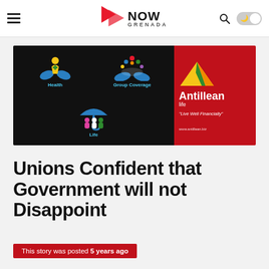NOW GRENADA
[Figure (illustration): Antillean Life insurance advertisement banner with Health, Group Coverage, and Life icons on black background, and Antillean life branding on red background with tagline 'Live Well Financially' and www.antillean.biz]
Unions Confident that Government will not Disappoint
This story was posted 5 years ago